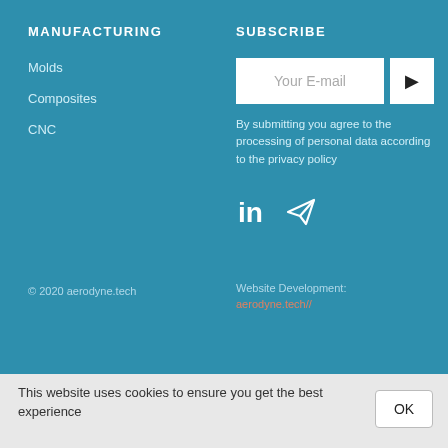MANUFACTURING
Molds
Composites
CNC
SUBSCRIBE
Your E-mail
By submitting you agree to the processing of personal data according to the privacy policy
[Figure (logo): LinkedIn and Telegram social media icons]
© 2020 aerodyne.tech
Website Development:
aerodyne.tech//
This website uses cookies to ensure you get the best experience